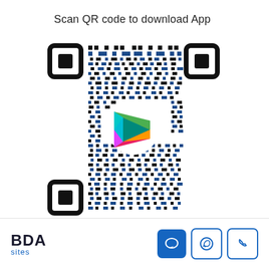Scan QR code to download App
[Figure (other): QR code with Google Play Store logo in the center, black and blue modules on white background. Three finder patterns visible (top-left, top-right, bottom-left corners).]
BDA sites [logo] with chat, WhatsApp, and phone icon buttons